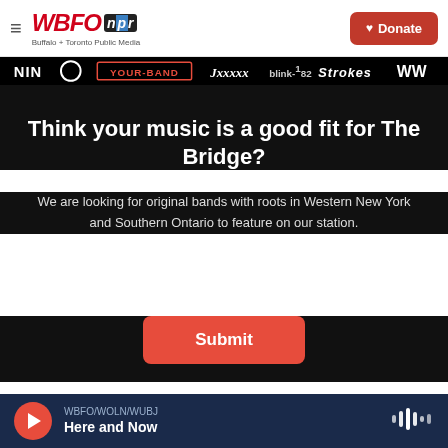WBFO npr | Buffalo + Toronto Public Media | Donate
[Figure (illustration): Band logo strip showing various band names including NIN, Weezer, YOUR-BAND, blink-182, Strokes on a dark background]
Think your music is a good fit for The Bridge?
We are looking for original bands with roots in Western New York and Southern Ontario to feature on our station.
Submit
WBFO/WOLN/WUBJ Here and Now